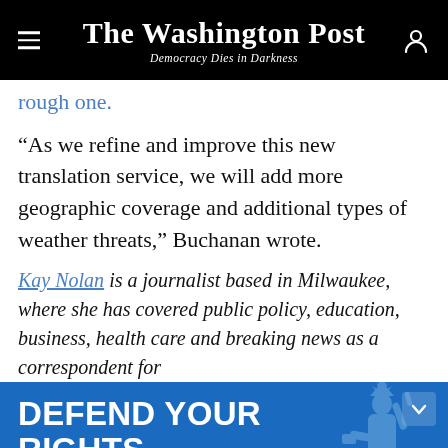The Washington Post — Democracy Dies in Darkness
rough one.
“As we refine and improve this new translation service, we will add more geographic coverage and additional types of weather threats,” Buchanan wrote.
Kay Nolan is a journalist based in Milwaukee, where she has covered public policy, education, business, health care and breaking news as a correspondent for
[Figure (other): ACLU advertisement banner: 'DEFEND YOUR RIGHTS. DONATE TODAY.' with a red 'MATCH MY GIFT' button and ACLU logo, blue background with Statue of Liberty silhouette.]